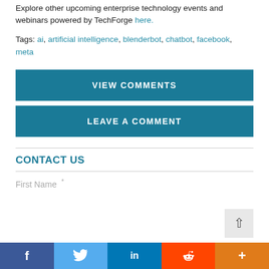Explore other upcoming enterprise technology events and webinars powered by TechForge here.
Tags: ai, artificial intelligence, blenderbot, chatbot, facebook, meta
VIEW COMMENTS
LEAVE A COMMENT
CONTACT US
First Name *
[Figure (other): Social media sharing bar with Facebook, Twitter, LinkedIn, Reddit, and More buttons]